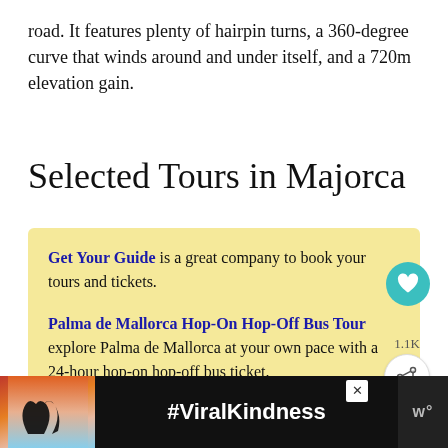road. It features plenty of hairpin turns, a 360-degree curve that winds around and under itself, and a 720m elevation gain.
Selected Tours in Majorca
Get Your Guide is a great company to book your tours and tickets.
Palma de Mallorca Hop-On Hop-Off Bus Tour explore Palma de Mallorca at your own pace with a 24-hour hop-on hop-off bus ticket.
[Figure (other): Advertisement banner showing #ViralKindness with heart hands silhouette, Merriam-Webster logo]
[Figure (other): WHAT'S NEXT thumbnail - 12 Best Things to D...]
[Figure (other): Heart/like teal circle button showing a heart icon]
[Figure (other): Share button with 1.1K count]